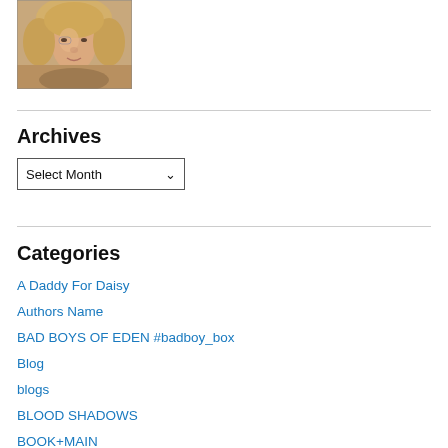[Figure (photo): Portrait photo of a woman with blonde hair, cropped at head/shoulders, warm indoor lighting]
Archives
Select Month (dropdown)
Categories
A Daddy For Daisy
Authors Name
BAD BOYS OF EDEN #badboy_box
Blog
blogs
BLOOD SHADOWS
BOOK+MAIN